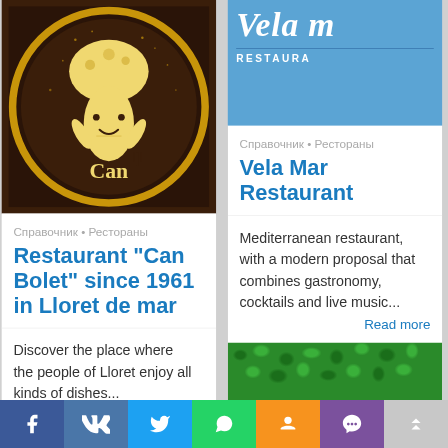[Figure (logo): Restaurant Can Bolet circular logo with cartoon chef mushroom character holding fork, on dark brown background with gold ring border]
Справочник • Рестораны
Restaurant "Can Bolet" since 1961 in Lloret de mar
Discover the place where the people of Lloret enjoy all kinds of dishes...
[Figure (illustration): Vela Mar Restaurant banner with cursive script logo on blue background with RESTAURA text]
Справочник • Рестораны
Vela Mar Restaurant
Mediterranean restaurant, with a modern proposal that combines gastronomy, cocktails and live music...
Read more
[Figure (photo): Close-up photo of green moss texture]
f VK Twitter WhatsApp OK Viber ↑